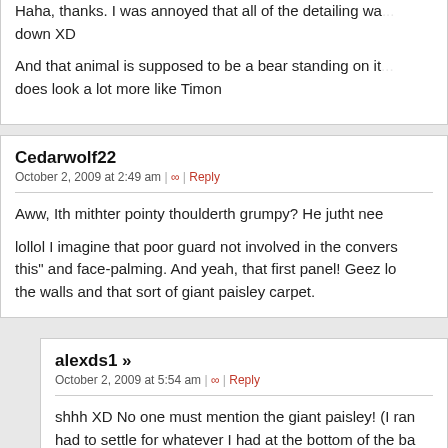Haha, thanks. I was annoyed that all of the detailing was going down XD

And that animal is supposed to be a bear standing on it... but it does look a lot more like Timon
Cedarwolf22
October 2, 2009 at 2:49 am | ∞ | Reply
Aww, Ith mithter pointy thoulderth grumpy? He jutht need...
lollol I imagine that poor guard not involved in the conversation... this" and face-palming. And yeah, that first panel! Geez lo... the walls and that sort of giant paisley carpet.
alexds1 »
October 2, 2009 at 5:54 am | ∞ | Reply
shhh XD No one must mention the giant paisley! (I ran... had to settle for whatever I had at the bottom of the ba...